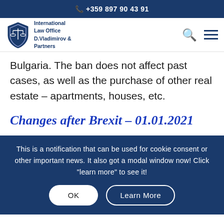+359 897 90 43 91
[Figure (logo): International Law Office D.Vladimirov & Partners shield logo with scales of justice]
Bulgaria. The ban does not affect past cases, as well as the purchase of other real estate – apartments, houses, etc.
Changes after Brexit – 01.01.2021
This is a notification that can be used for cookie consent or other important news. It also got a modal window now! Click "learn more" to see it!